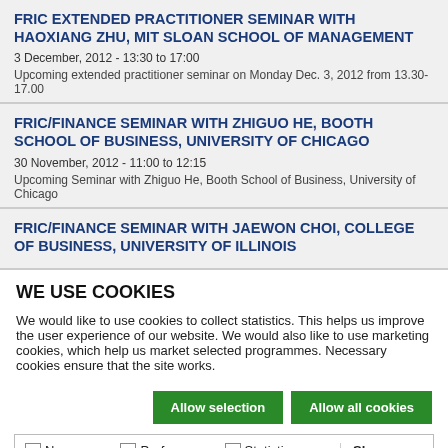FRIC EXTENDED PRACTITIONER SEMINAR WITH HAOXIANG ZHU, MIT SLOAN SCHOOL OF MANAGEMENT
3 December, 2012 - 13:30 to 17:00
Upcoming extended practitioner seminar on Monday Dec. 3, 2012 from 13.30-17.00
FRIC/FINANCE SEMINAR WITH ZHIGUO HE, BOOTH SCHOOL OF BUSINESS, UNIVERSITY OF CHICAGO
30 November, 2012 - 11:00 to 12:15
Upcoming Seminar with Zhiguo He, Booth School of Business, University of Chicago
FRIC/FINANCE SEMINAR WITH JAEWON CHOI, COLLEGE OF BUSINESS, UNIVERSITY OF ILLINOIS
WE USE COOKIES
We would like to use cookies to collect statistics. This helps us improve the user experience of our website. We would also like to use marketing cookies, which help us market selected programmes. Necessary cookies ensure that the site works.
Allow selection | Allow all cookies
Necessary  Preferences  Statistics  Marketing  Show details